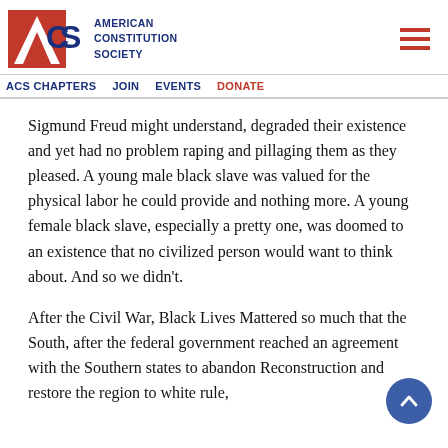American Constitution Society
Sigmund Freud might understand, degraded their existence and yet had no problem raping and pillaging them as they pleased. A young male black slave was valued for the physical labor he could provide and nothing more. A young female black slave, especially a pretty one, was doomed to an existence that no civilized person would want to think about. And so we didn't.
After the Civil War, Black Lives Mattered so much that the South, after the federal government reached an agreement with the Southern states to abandon Reconstruction and restore the region to white rule,